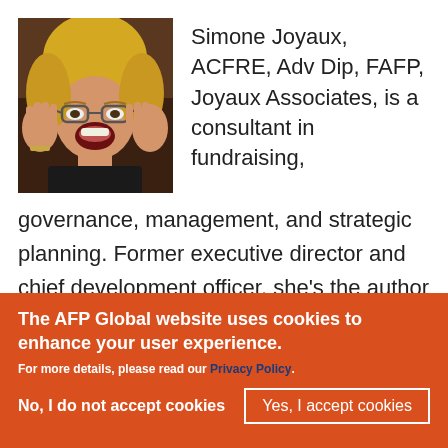[Figure (photo): Photo of Simone Joyaux, a woman with blonde hair, glasses, and hands on cheeks with open mouth expression]
Simone Joyaux, ACFRE, Adv Dip, FAFP, Joyaux Associates, is a consultant in fundraising, governance, management, and strategic planning. Former executive director and chief development officer, she's the author of three books and contributor to multiple others. She presents worldwide, serves as a
The AFP Global website uses cookies to enhance your user experience.
For more details, please read our Privacy Policy.
No, I do not accept cookies
Yes, I accept cookies